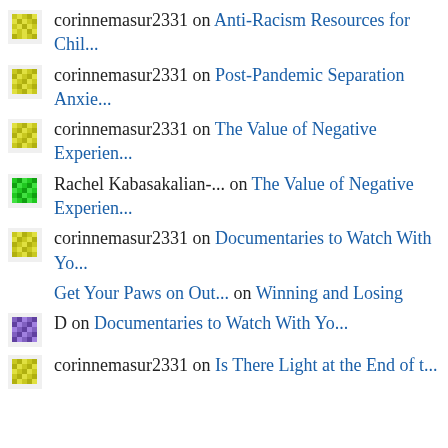corinnemasur2331 on Anti-Racism Resources for Chil...
corinnemasur2331 on Post-Pandemic Separation Anxie...
corinnemasur2331 on The Value of Negative Experien...
Rachel Kabasakalian-... on The Value of Negative Experien...
corinnemasur2331 on Documentaries to Watch With Yo...
Get Your Paws on Out... on Winning and Losing
D on Documentaries to Watch With Yo...
corinnemasur2331 on Is There Light at the End of t...